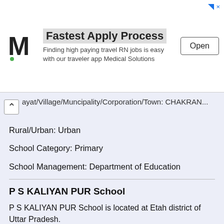[Figure (screenshot): Advertisement banner for Medical Solutions app showing logo, 'Fastest Apply Process' text, description about travel RN jobs, and Open button]
ayat/Village/Muncipality/Corporation/Town: [truncated]
Rural/Urban: Urban
School Category: Primary
School Management: Department of Education
P S KALIYAN PUR School
P S KALIYAN PUR School is located at Etah district of Uttar Pradesh.
School Code: 09170805501
Block: Marhara
Panchayat/Village/Muncipality/Corporation/Town: KALIYAN PUR